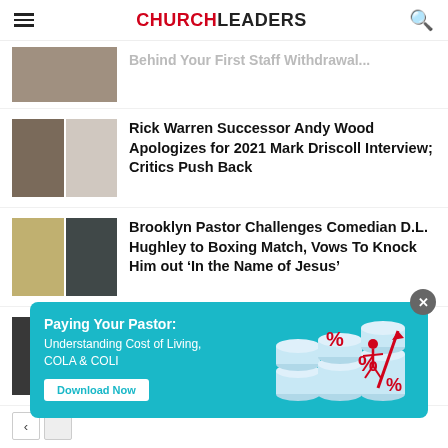CHURCHLEADERS
[Figure (photo): Partially visible article thumbnail showing ruins/disaster scene]
...Behind Your First Staff Withdrawal...
[Figure (photo): Two-panel photo: man on left, man in white shirt on right (Rick Warren / Andy Wood related)]
Rick Warren Successor Andy Wood Apologizes for 2021 Mark Driscoll Interview; Critics Push Back
[Figure (photo): Two-panel photo: man in cap on left, D.L. Hughley on right]
Brooklyn Pastor Challenges Comedian D.L. Hughley to Boxing Match, Vows To Knock Him out ‘In the Name of Jesus’
[Figure (photo): Two-panel photo related to Beth Moore ministry article]
Despite a ‘Messy’ Ministry Path, Beth...
[Figure (infographic): Advertisement banner: Paying Your Pastor: Understanding Cost of Living, COLA & COLI. Download Now button. Illustration of coins and percentage signs with figure.]